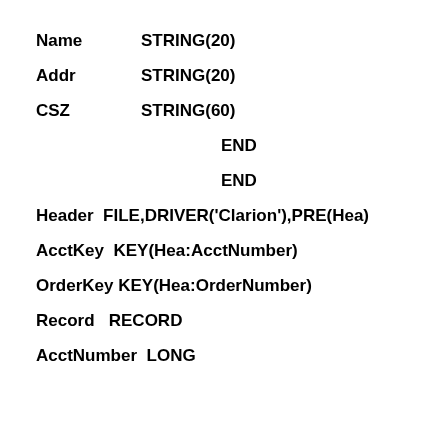Name        STRING(20)
Addr        STRING(20)
CSZ         STRING(60)
END
END
Header  FILE,DRIVER('Clarion'),PRE(Hea)
AcctKey  KEY(Hea:AcctNumber)
OrderKey KEY(Hea:OrderNumber)
Record   RECORD
AcctNumber  LONG